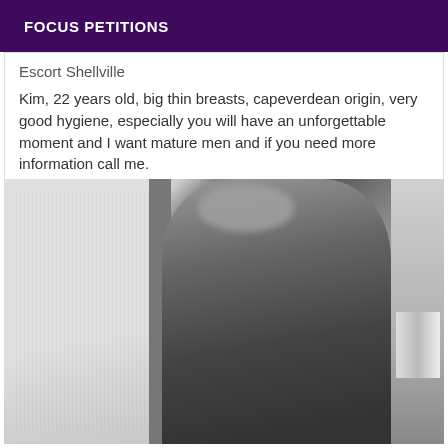FOCUS PETITIONS
Escort Shellville
Kim, 22 years old, big thin breasts, capeverdean origin, very good hygiene, especially you will have an unforgettable moment and I want mature men and if you need more information call me.
[Figure (photo): Black and white photograph of a person, face blurred, taken in a room with a textured wall on the left and a mirror or doorframe in the center.]